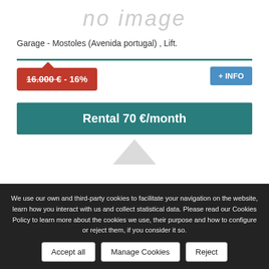[Figure (other): Placeholder 'no image' watermark text area]
Garage - Mostoles (Avenida portugal) , Lift.
16.000 € - 16%
+ INFO
Rental 70 €/month
We use our own and third-party cookies to facilitate your navigation on the website, learn how you interact with us and collect statistical data. Please read our Cookies Policy to learn more about the cookies we use, their purpose and how to configure or reject them, if you consider it so.
QUESTION?
Accept all
Manage Cookies
Reject